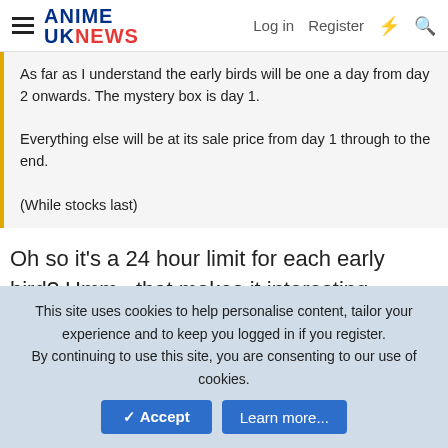ANIME UK NEWS | Log in | Register
As far as I understand the early birds will be one a day from day 2 onwards. The mystery box is day 1.

Everything else will be at its sale price from day 1 through to the end.

(While stocks last)
Oh so it's a 24 hour limit for each early bird? Hmm.. that makes it interesting.
↩ Reply
WMD
Railgun
This site uses cookies to help personalise content, tailor your experience and to keep you logged in if you register.
By continuing to use this site, you are consenting to our use of cookies.